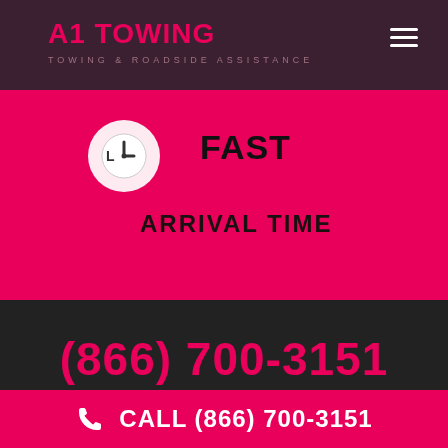A1 TOWING — TOWING & ROADSIDE ASSISTANCE
FAST
ARRIVAL TIME
(866) 700-3151
CALL (866) 700-3151